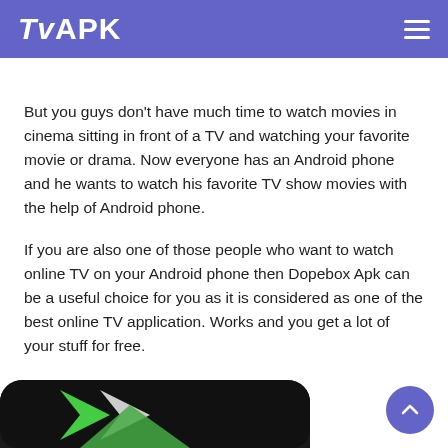TvAPK
But you guys don’t have much time to watch movies in cinema sitting in front of a TV and watching your favorite movie or drama. Now everyone has an Android phone and he wants to watch his favorite TV show movies with the help of Android phone.
If you are also one of those people who want to watch online TV on your Android phone then Dopebox Apk can be a useful choice for you as it is considered as one of the best online TV application. Works and you get a lot of your stuff for free.
[Figure (photo): Partial view of a dark-background app icon with green and white Android-style logo]